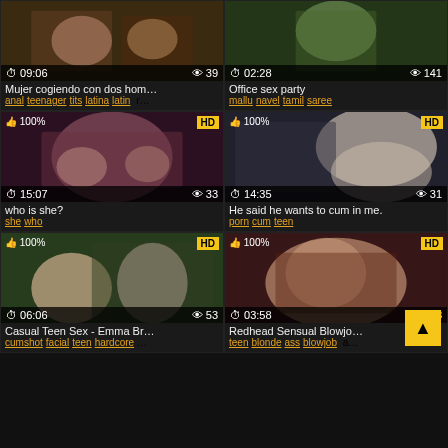[Figure (screenshot): Video thumbnail grid - top left: duration 09:06, views 39, title Mujer cogiendo con dos hom..., tags: anal teenager tits latina latin r...]
[Figure (screenshot): Video thumbnail grid - top right: duration 02:28, views 141, title Office sex party, tags: mallu navel tamil saree]
[Figure (screenshot): Video thumbnail - middle left: HD, 100%, duration 15:07, views 33, title who is she?, tags: she who]
[Figure (screenshot): Video thumbnail - middle right: HD, 100%, duration 14:35, views 31, title He said he wants to cum in me., tags: porn cum teen]
[Figure (screenshot): Video thumbnail - bottom left: HD, 100%, duration 06:06, views 53, title Casual Teen Sex - Emma Br..., tags: cumshot facial teen hardcore...]
[Figure (screenshot): Video thumbnail - bottom right: HD, 100%, duration 03:58, views 48, title Redhead Sensual Blowjo..., tags: teen blonde ass blowjob a...]